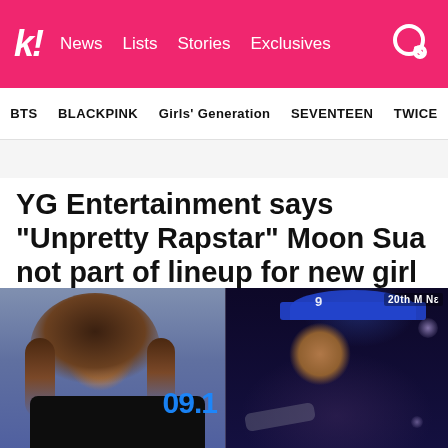k! News Lists Stories Exclusives
BTS BLACKPINK Girls' Generation SEVENTEEN TWICE
YG Entertainment says “Unpretty Rapstar” Moon Sua not part of lineup for new girl group
[Figure (photo): Two photos side by side: left shows a young woman with long brown hair wearing a black top in front of a blue background with '09.1' text; right shows a performer wearing a blue cap and holding a mic on a dark stage with Mnet watermark.]